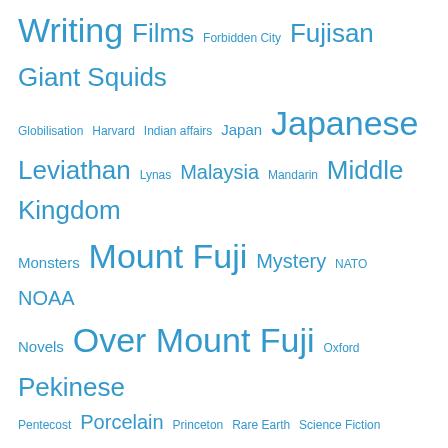[Figure (infographic): Tag cloud with blue tags of varying sizes: Writing, Films, Forbidden City, Fujisan, Giant Squids, Globilisation, Harvard, Indian affairs, Japan, Japanese, Leviathan, Lynas, Malaysia, Mandarin, Middle Kingdom, Monsters, Mount Fuji, Mystery, NATO, NOAA, Novels, Over Mount Fuji, Oxford, Pekinese, Pentecost, Porcelain, Princeton, Rare Earth, Science Fiction, Sea Serpents, Singapore, Speculative Fiction, Taylor's university College, Taylors College, US Navy, Western cultures]
Categories
al Qaeda
Amos